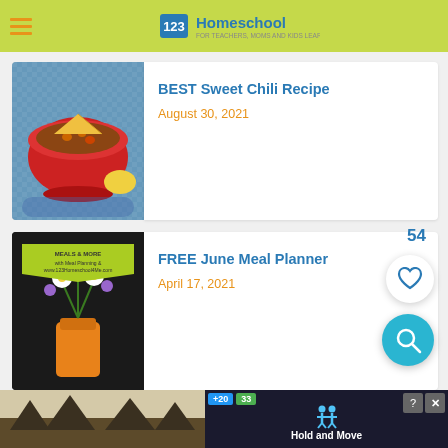123Homeschool
[Figure (photo): Red bowl of chili with tortilla chip garnish on blue checkered tablecloth]
BEST Sweet Chili Recipe
August 30, 2021
[Figure (photo): Meal planner promotional image with yellow flowers in vase on dark background]
FREE June Meal Planner
April 17, 2021
[Figure (screenshot): Advertisement banner at bottom: Hold and Move game ad with dark background and tree silhouette]